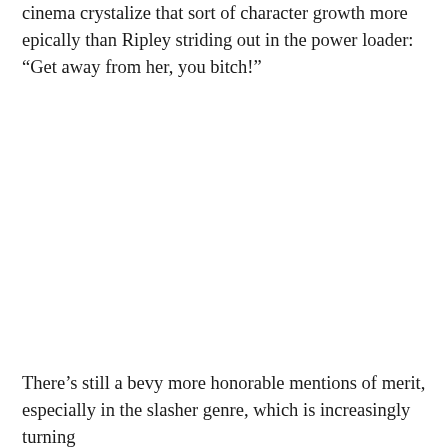cinema crystalize that sort of character growth more epically than Ripley striding out in the power loader: “Get away from her, you bitch!”
There’s still a bevy more honorable mentions of merit, especially in the slasher genre, which is increasingly turning